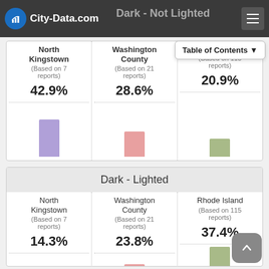City-Data.com
Dark - Not Lighted
| North Kingstown | Washington County | Rhode Island |
| --- | --- | --- |
| (Based on 7 reports) | (Based on 21 reports) | (Based on 115 reports) |
| 42.9% | 28.6% | 20.9% |
[Figure (bar-chart): Dark - Not Lighted]
Dark - Lighted
| North Kingstown | Washington County | Rhode Island |
| --- | --- | --- |
| (Based on 7 reports) | (Based on 21 reports) | (Based on 115 reports) |
| 14.3% | 23.8% | 37.4% |